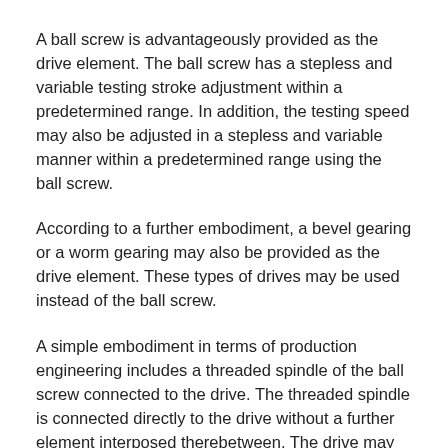A ball screw is advantageously provided as the drive element. The ball screw has a stepless and variable testing stroke adjustment within a predetermined range. In addition, the testing speed may also be adjusted in a stepless and variable manner within a predetermined range using the ball screw.
According to a further embodiment, a bevel gearing or a worm gearing may also be provided as the drive element. These types of drives may be used instead of the ball screw.
A simple embodiment in terms of production engineering includes a threaded spindle of the ball screw connected to the drive. The threaded spindle is connected directly to the drive without a further element interposed therebetween. The drive may comprise an electric motor which, depending on activation, runs in clockwise or counterclockwise rotations.
According to yet another embodiment, the control system is controlled by a computer. It is advantageously provided that the parameters comprising number of strokes, testing